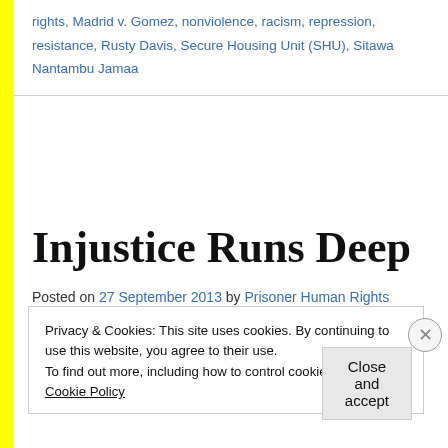rights, Madrid v. Gomez, nonviolence, racism, repression, resistance, Rusty Davis, Secure Housing Unit (SHU), Sitawa Nantambu Jamaa
Injustice Runs Deep
Posted on 27 September 2013 by Prisoner Human Rights Movement
Privacy & Cookies: This site uses cookies. By continuing to use this website, you agree to their use.
To find out more, including how to control cookies, see here: Cookie Policy